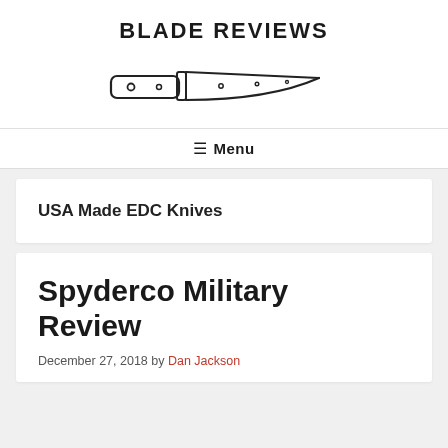BLADE REVIEWS
[Figure (illustration): Line drawing of a chef's knife / blade logo for Blade Reviews website]
Menu
USA Made EDC Knives
Spyderco Military Review
December 27, 2018 by Dan Jackson